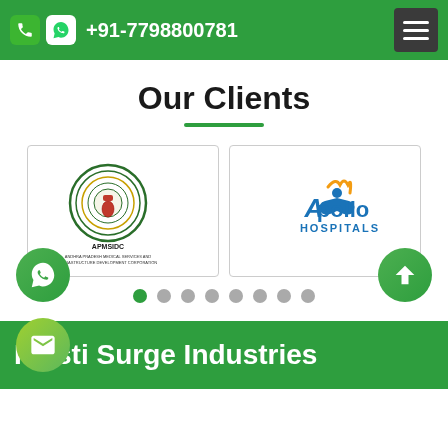+91-7798800781
Our Clients
[Figure (logo): APMSIDC - Andhra Pradesh Medical Services and Infrastructure Development Corporation government seal/logo]
[Figure (logo): Apollo Hospitals logo with blue and orange branding]
Plasti Surge Industries